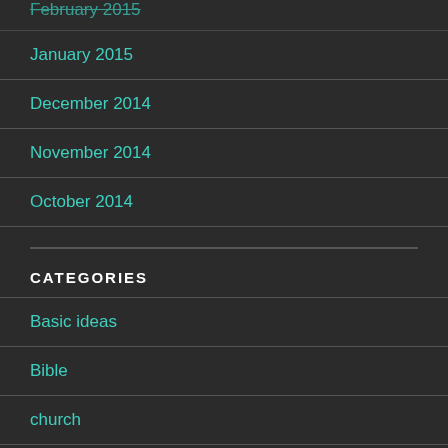February 2015
January 2015
December 2014
November 2014
October 2014
CATEGORIES
Basic ideas
Bible
church
cosmos